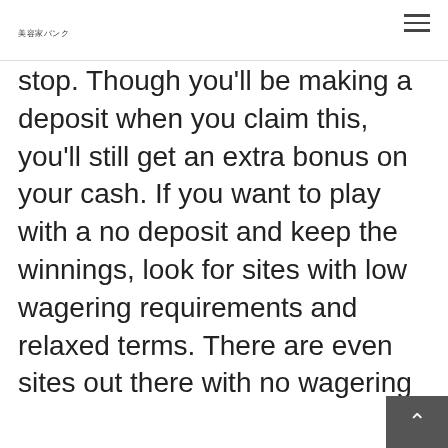美容家バンク
stop. Though you'll be making a deposit when you claim this, you'll still get an extra bonus on your cash. If you want to play with a no deposit and keep the winnings, look for sites with low wagering requirements and relaxed terms. There are even sites out there with no wagering requirements at all that will make it easier for you to keep your winnings. You may not be eligible to claim a no deposit bonus if you're not a new player or if you've claimed one previously on a sister site.